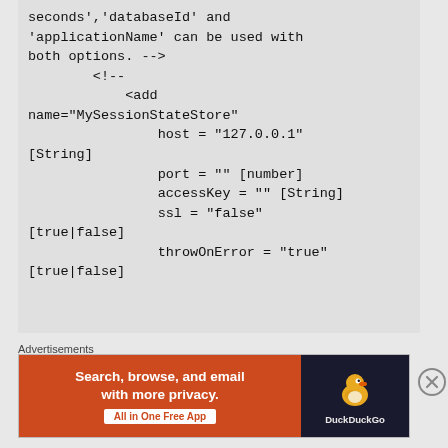seconds','databaseId' and 'applicationName' can be used with both options. -->
        <!--
            <add
name="MySessionStateStore"
                host = "127.0.0.1"
[String]
                port = "" [number]
                accessKey = "" [String]
                ssl = "false"
[true|false]
                throwOnError = "true"
[true|false]
Advertisements
[Figure (other): DuckDuckGo advertisement banner: orange left panel with 'Search, browse, and email with more privacy. All in One Free App' text and white button, dark right panel with DuckDuckGo duck logo and brand name.]